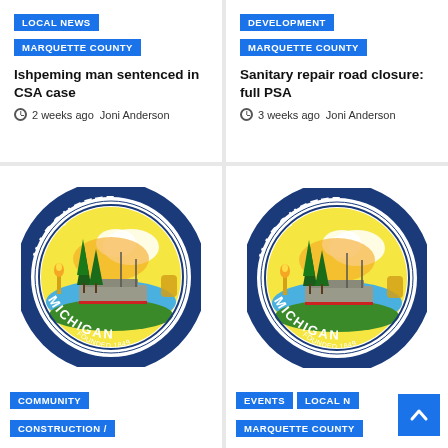LOCAL NEWS | MARQUETTE COUNTY — Ishpeming man sentenced in CSA case — 2 weeks ago Joni Anderson
DEVELOPMENT | MARQUETTE COUNTY — Sanitary repair road closure: full PSA — 3 weeks ago Joni Anderson
[Figure (logo): Marquette Michigan city seal — circular logo with ship, trees, torch, sun, MARQUETTE MICHIGAN text, FOUNDED 1849]
[Figure (logo): Marquette Michigan city seal — circular logo with ship, trees, torch, sun, MARQUETTE MICHIGAN text, FOUNDED 1849]
COMMUNITY | CONSTRUCTION /
EVENTS | LOCAL NEWS | MARQUETTE COUNTY